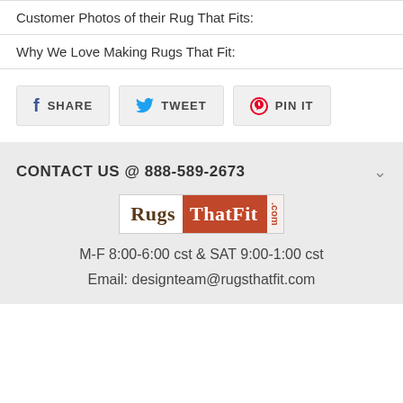Customer Photos of their Rug That Fits:
Why We Love Making Rugs That Fit:
[Figure (other): Social share buttons: SHARE (Facebook), TWEET (Twitter), PIN IT (Pinterest)]
CONTACT US @ 888-589-2673
[Figure (logo): RugsThatFit.com logo — 'Rugs' in dark brown serif on white, 'ThatFit' in white serif on rust/orange background, '.com' in small vertical text on right]
M-F 8:00-6:00 cst & SAT 9:00-1:00 cst
Email: designteam@rugsthatfit.com